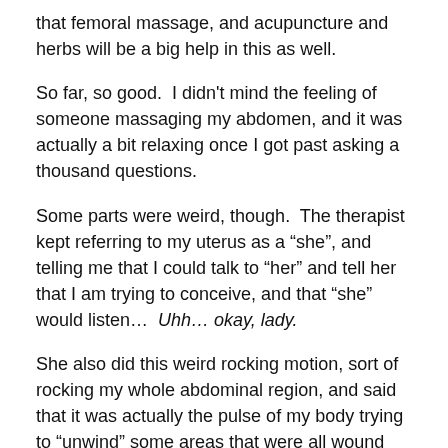that femoral massage, and acupuncture and herbs will be a big help in this as well.
So far, so good.  I didn't mind the feeling of someone massaging my abdomen, and it was actually a bit relaxing once I got past asking a thousand questions.
Some parts were weird, though.  The therapist kept referring to my uterus as a “she”, and telling me that I could talk to “her” and tell her that I am trying to conceive, and that “she” would listen…  Uhh… okay, lady.
She also did this weird rocking motion, sort of rocking my whole abdominal region, and said that it was actually the pulse of my body trying to “unwind” some areas that were all wound up…  Again… very weird.
She also asked me more about my miscarriage – how